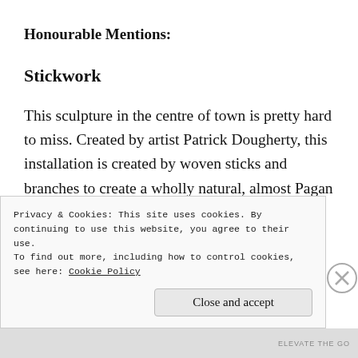Honourable Mentions:
Stickwork
This sculpture in the centre of town is pretty hard to miss. Created by artist Patrick Dougherty, this installation is created by woven sticks and branches to create a wholly natural, almost Pagan looking piece, which juxtaposes against the manmade surroundings. If you want to see it, you'll need to be quick: the exhibit is on loan until…
Privacy & Cookies: This site uses cookies. By continuing to use this website, you agree to their use.
To find out more, including how to control cookies, see here: Cookie Policy